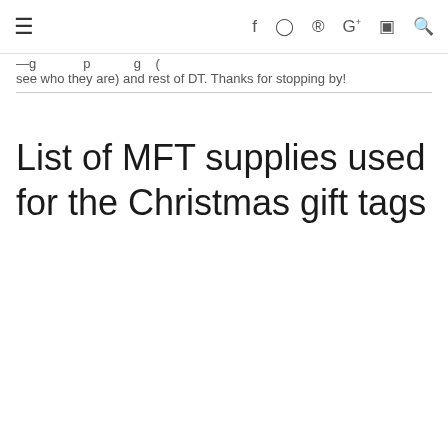≡  f  ⊙  ⊕  G+  ▶  🔍
— g … p … g ( see who they are) and rest of DT. Thanks for stopping by!
List of MFT supplies used for the Christmas gift tags